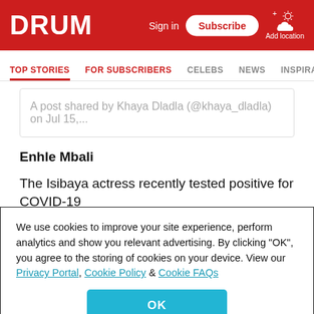DRUM — Sign in | Subscribe | Add location
TOP STORIES | FOR SUBSCRIBERS | CELEBS | NEWS | INSPIRA
A post shared by Khaya Dladla (@khaya_dladla) on Jul 15,...
Enhle Mbali
The Isibaya actress recently tested positive for COVID-19
We use cookies to improve your site experience, perform analytics and show you relevant advertising. By clicking "OK", you agree to the storing of cookies on your device. View our Privacy Portal, Cookie Policy & Cookie FAQs
OK